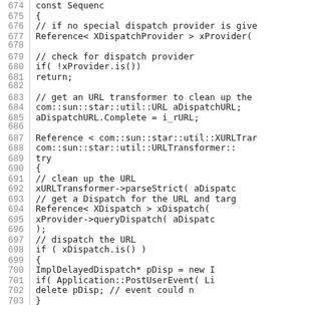Source code listing, lines 674-703, showing C++ dispatch provider logic